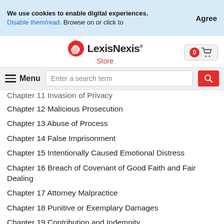We use cookies to enable digital experiences. Disable them/read. Browse on or click to
Agree
[Figure (logo): LexisNexis Store logo with red swoosh icon]
Menu / search bar with hamburger menu and search input
Chapter 11 Invasion of Privacy
Chapter 12 Malicious Prosecution
Chapter 13 Abuse of Process
Chapter 14 False Imprisonment
Chapter 15 Intentionally Caused Emotional Distress
Chapter 16 Breach of Covenant of Good Faith and Fair Dealing
Chapter 17 Attorney Malpractice
Chapter 18 Punitive or Exemplary Damages
Chapter 19 Contribution and Indemnity
Chapter 20 Review of Damage Awards
Appendix